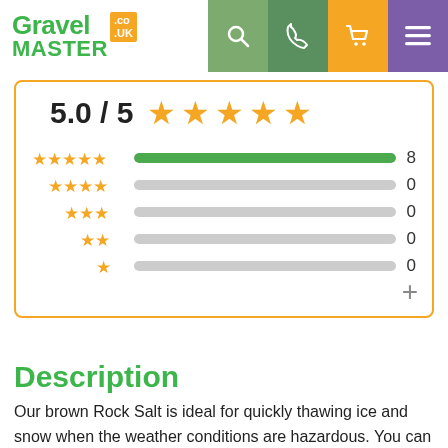[Figure (logo): GravelMaster.co.uk logo with green text and orange badge]
[Figure (infographic): Star rating display showing 5.0/5 with 5 gold stars and breakdown bars: 5-star=8, 4-star=0, 3-star=0, 2-star=0, 1-star=0]
Description
Our brown Rock Salt is ideal for quickly thawing ice and snow when the weather conditions are hazardous. You can use this 100% brown Rock Salt